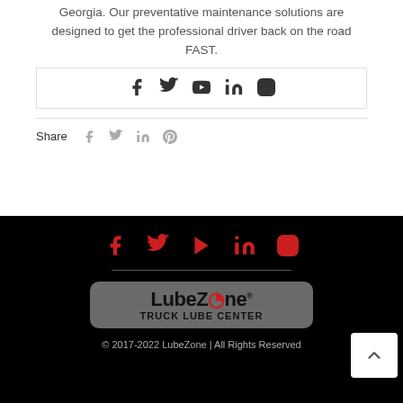Georgia. Our preventative maintenance solutions are designed to get the professional driver back on the road FAST.
[Figure (infographic): Social media icons row (Facebook, Twitter, YouTube, LinkedIn, Instagram) in dark color on white background]
Share
[Figure (infographic): Share icons row (Facebook, Twitter, LinkedIn, Pinterest) in grey on white background]
[Figure (infographic): Footer social media icons row (Facebook, Twitter, YouTube/Play, LinkedIn, Instagram) in red on black background]
[Figure (logo): LubeZone Truck Lube Center logo on dark grey rounded rectangle background]
© 2017-2022 LubeZone | All Rights Reserved